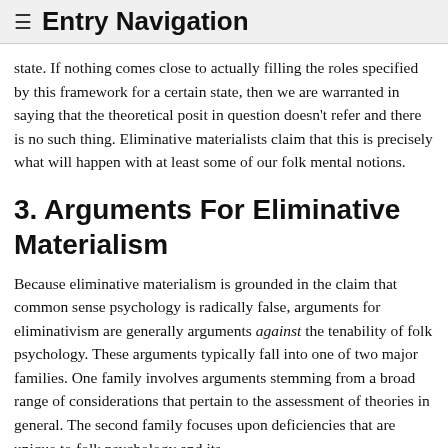≡ Entry Navigation
state. If nothing comes close to actually filling the roles specified by this framework for a certain state, then we are warranted in saying that the theoretical posit in question doesn't refer and there is no such thing. Eliminative materialists claim that this is precisely what will happen with at least some of our folk mental notions.
3. Arguments For Eliminative Materialism
Because eliminative materialism is grounded in the claim that common sense psychology is radically false, arguments for eliminativism are generally arguments against the tenability of folk psychology. These arguments typically fall into one of two major families. One family involves arguments stemming from a broad range of considerations that pertain to the assessment of theories in general. The second family focuses upon deficiencies that are unique to folk psychology and its